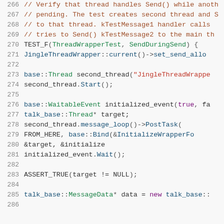[Figure (screenshot): Source code listing showing C++ unit test code for ThreadWrapperTest::SendDuringSend, lines 266-286, displayed in a code editor with syntax highlighting on a light gray background.]